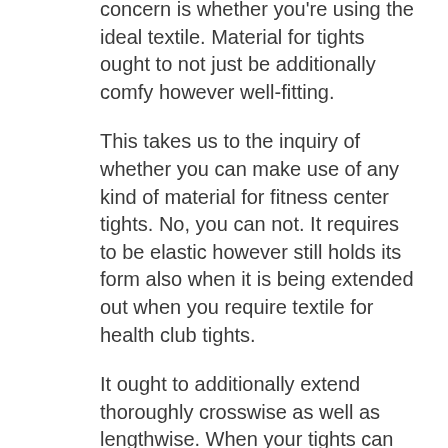concern is whether you're using the ideal textile. Material for tights ought to not just be additionally comfy however well-fitting.
This takes us to the inquiry of whether you can make use of any kind of material for fitness center tights. No, you can not. It requires to be elastic however still holds its form also when it is being extended out when you require textile for health club tights.
It ought to additionally extend thoroughly crosswise as well as lengthwise. When your tights can extend lengthwise, they can likewise end up being better as well as long, so you do not wind up with uneasy and also limited exercise clothing.
Since you would certainly require a comfy fit when working out, the textile for your fitness center tights need to likewise be able to allow wetness like sweat pass with it. It ought to likewise be glossy and also smooth to make sure that when you perform high-